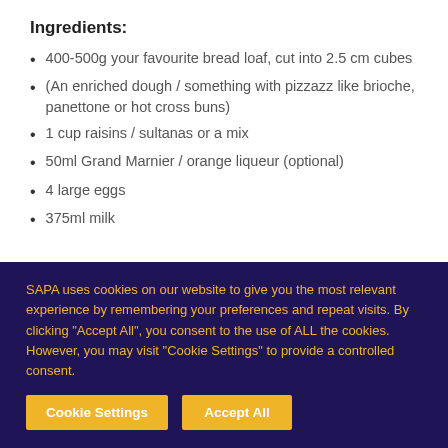Ingredients:
400-500g your favourite bread loaf, cut into 2.5 cm cubes
(An enriched dough / something with pizzazz like brioche, panettone or hot cross buns)
1 cup raisins / sultanas or a mix
50ml Grand Marnier / orange liqueur (optional)
4 large eggs
375ml milk
SAPA uses cookies on our website to give you the most relevant experience by remembering your preferences and repeat visits. By clicking "Accept All", you consent to the use of ALL the cookies. However, you may visit "Cookie Settings" to provide a controlled consent.